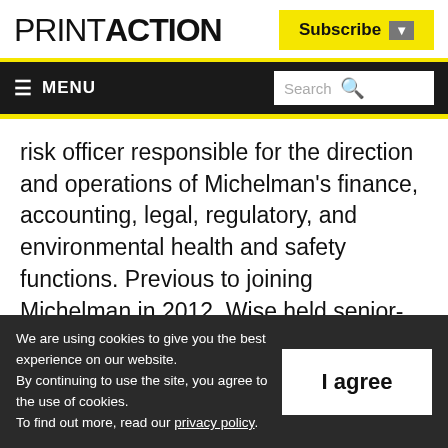PRINTACTION
Subscribe
≡ MENU  Search
risk officer responsible for the direction and operations of Michelman's finance, accounting, legal, regulatory, and environmental health and safety functions. Previous to joining Michelman in 2012, Wise held senior-level managerial and auditing positions at global,
We are using cookies to give you the best experience on our website. By continuing to use the site, you agree to the use of cookies. To find out more, read our privacy policy.